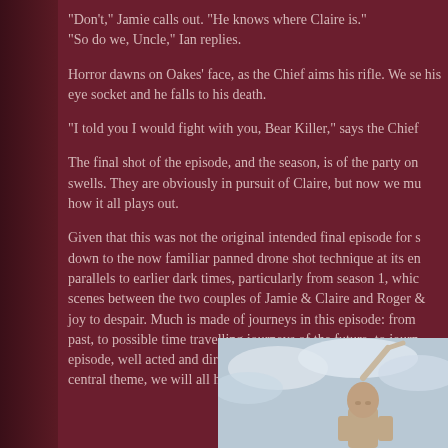“Don’t,” Jamie calls out. “He knows where Claire is.”
“So do we, Uncle,” Ian replies.
Horror dawns on Oakes’ face, as the Chief aims his rifle. We se his eye socket and he falls to his death.
“I told you I would fight with you, Bear Killer,” says the Chief
The final shot of the episode, and the season, is of the party on swells. They are obviously in pursuit of Claire, but now we mu how it all plays out.
Given that this was not the original intended final episode for s down to the now familiar panned drone shot technique at its en parallels to earlier dark times, particularly from season 1, whic scenes between the two couples of Jamie & Claire and Roger & joy to despair. Much is made of journeys in this episode: from past, to possible time travelling journeys of the future, to journ episode, well acted and directed, and certainly whets the appeti a central theme, we will all have to endure the slow passing of
[Figure (photo): A person with a shaved head outdoors with cloudy sky background, raising an arm]